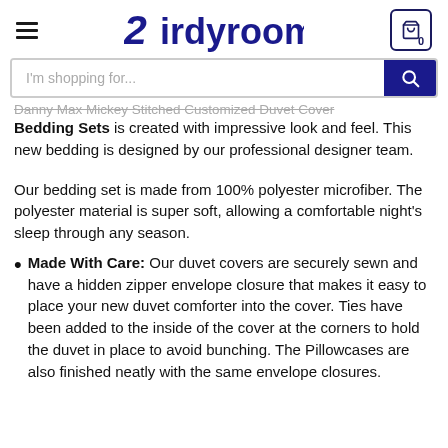Birdyroom
I'm shopping for...
Danny Max Mickey Stitched Customized Duvet Cover Bedding Sets is created with impressive look and feel. This new bedding is designed by our professional designer team.
Our bedding set is made from 100% polyester microfiber. The polyester material is super soft, allowing a comfortable night’s sleep through any season.
Made With Care: Our duvet covers are securely sewn and have a hidden zipper envelope closure that makes it easy to place your new duvet comforter into the cover. Ties have been added to the inside of the cover at the corners to hold the duvet in place to avoid bunching. The Pillowcases are also finished neatly with the same envelope closures.